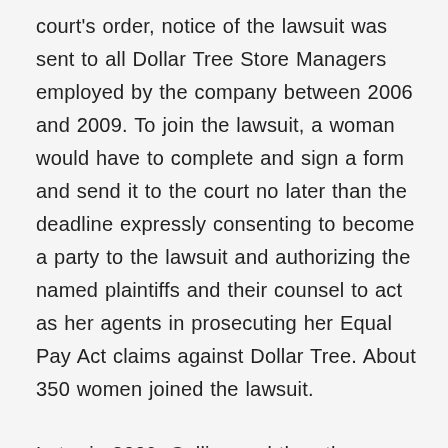court's order, notice of the lawsuit was sent to all Dollar Tree Store Managers employed by the company between 2006 and 2009. To join the lawsuit, a woman would have to complete and sign a form and send it to the court no later than the deadline expressly consenting to become a party to the lawsuit and authorizing the named plaintiffs and their counsel to act as her agents in prosecuting her Equal Pay Act claims against Dollar Tree. About 350 women joined the lawsuit.
Later in 2009, Collins and the other plaintiffs sought to amend their complaint to bring